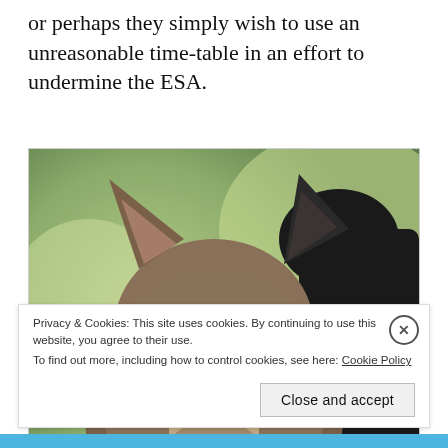or perhaps they simply wish to use an unreasonable time-table in an effort to undermine the ESA.
[Figure (photo): Close-up photograph of a wolf or wolf-like animal, showing its face and ears against a blurred green background. A dark-furred companion animal is visible to the right.]
Privacy & Cookies: This site uses cookies. By continuing to use this website, you agree to their use.
To find out more, including how to control cookies, see here: Cookie Policy
Close and accept